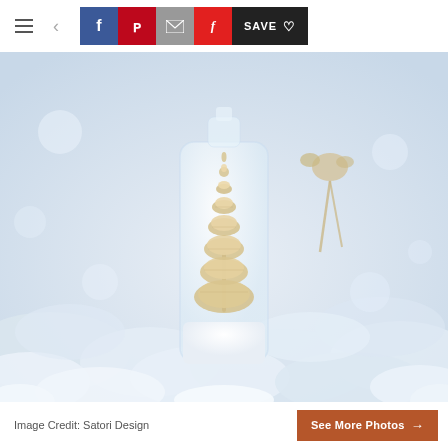[Figure (screenshot): Website toolbar with hamburger menu icon, back arrow, Facebook (blue), Pinterest (red), email (grey), Flipboard (red) social share buttons, and a dark SAVE button with heart icon]
[Figure (photo): Close-up photo of a small cream/tan bottle-brush Christmas tree inside a glass milk bottle, surrounded by fluffy white artificial snow, with a rope tied at the bottle neck. White snowy bokeh background.]
Image Credit: Satori Design
See More Photos →